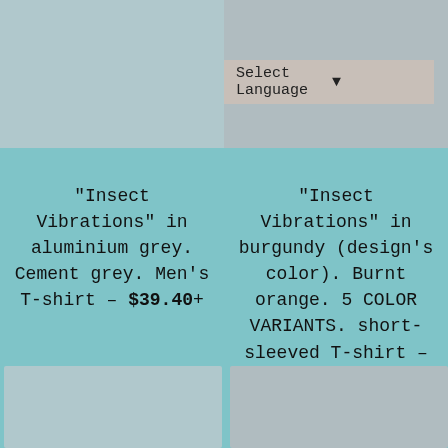[Figure (photo): Product photo of Insect Vibrations t-shirt in aluminium grey, top portion of shirt visible]
[Figure (photo): Product photo of Insect Vibrations t-shirt in burgundy/burnt orange, top portion visible]
[Figure (screenshot): Select Language dropdown widget]
"Insect Vibrations" in aluminium grey. Cement grey. Men's T-shirt – $39.40+
"Insect Vibrations" in burgundy (design's color). Burnt orange. 5 COLOR VARIANTS. short-sleeved T-shirt – $39.40+
[Figure (photo): Product photo placeholder, bottom left]
[Figure (photo): Product photo placeholder, bottom right]